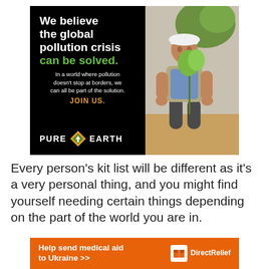[Figure (infographic): Pure Earth advertisement banner. Left side black background with large white bold text: 'We believe the global pollution crisis' and green bold text 'can be solved.' Below in white smaller text: 'In a world where pollution doesn't stop at borders, we can all be part of the solution.' Then golden/amber text: 'JOIN US.' At bottom the Pure Earth logo with diamond shape icon and bold white text 'PURE EARTH'. Right side shows a photo of a man in a white hard hat and vest planting a sapling.]
Every person’s kit list will be different as it’s a very personal thing, and you might find yourself needing certain things depending on the part of the world you are in.
[Figure (infographic): Orange banner advertisement for Direct Relief. Left side orange background with bold white text: 'Help send medical aid to Ukraine >>' Right side shows the Direct Relief logo (white box icon) and 'Direct Relief' in white text.]